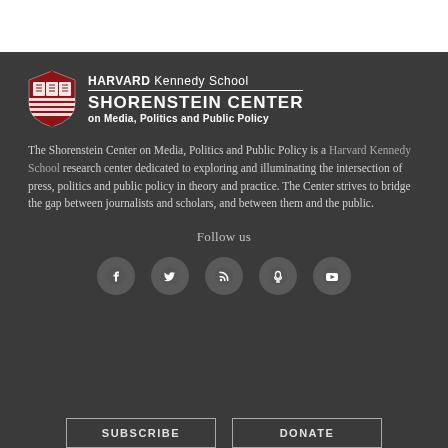[Figure (logo): Harvard Kennedy School Shorenstein Center on Media, Politics and Public Policy logo with shield emblem]
The Shorenstein Center on Media, Politics and Public Policy is a Harvard Kennedy School research center dedicated to exploring and illuminating the intersection of press, politics and public policy in theory and practice. The Center strives to bridge the gap between journalists and scholars, and between them and the public.
Follow us
[Figure (infographic): Social media icons: Facebook, Twitter, RSS feed, Podcast, YouTube]
SUBSCRIBE   DONATE